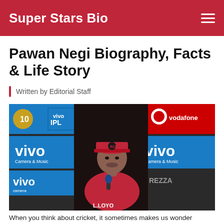Super Stars Bio
Pawan Negi Biography, Facts & Life Story
Written by Editorial Staff
[Figure (photo): Pawan Negi seated at a press conference podium wearing a red RCB cap and jersey, with VIVO IPL and Vodafone sponsor boards in the background]
When you think about cricket, it sometimes makes us wonder